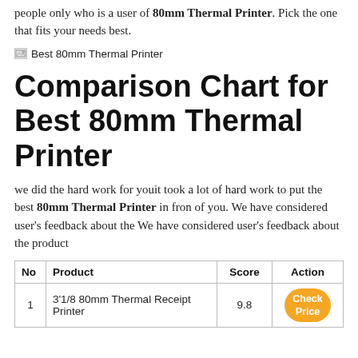people only who is a user of 80mm Thermal Printer. Pick the one that fits your needs best.
[Figure (illustration): Broken image placeholder labeled 'Best 80mm Thermal Printer']
Comparison Chart for Best 80mm Thermal Printer
we did the hard work for youit took a lot of hard work to put the best 80mm Thermal Printer in fron of you. We have considered user's feedback about the We have considered user's feedback about the product
| No | Product | Score | Action |
| --- | --- | --- | --- |
| 1 | 3'1/8 80mm Thermal Receipt Printer | 9.8 | Check Price |